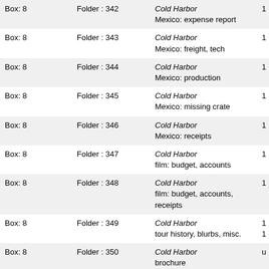| Box | Folder | Description |  |
| --- | --- | --- | --- |
| Box: 8 | Folder : 342 | Cold Harbor
Mexico: expense report | 1 |
| Box: 8 | Folder : 343 | Cold Harbor
Mexico: freight, tech | 1 |
| Box: 8 | Folder : 344 | Cold Harbor
Mexico: production | 1 |
| Box: 8 | Folder : 345 | Cold Harbor
Mexico: missing crate | 1 |
| Box: 8 | Folder : 346 | Cold Harbor
Mexico: receipts | 1 |
| Box: 8 | Folder : 347 | Cold Harbor
film: budget, accounts | 1 |
| Box: 8 | Folder : 348 | Cold Harbor
film: budget, accounts, receipts | 1 |
| Box: 8 | Folder : 349 | Cold Harbor
tour history, blurbs, misc. | 1
1 |
| Box: 8 | Folder : 350 | Cold Harbor
brochure
[General note]
see also oversize | u |